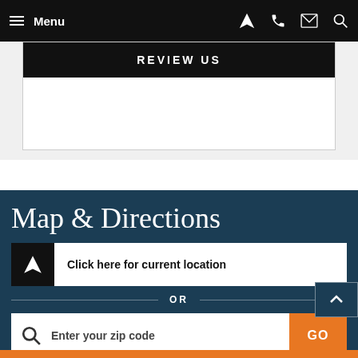Menu
REVIEW US
Map & Directions
Click here for current location
OR
Enter your zip code
GO